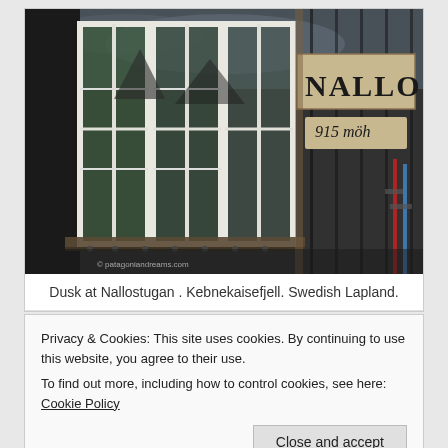[Figure (photo): Photo of a dark wooden cabin exterior with white-framed windows reflecting mountains and sky. A wooden sign on the wall reads 'NALLO' and '915 möh'. Ski poles visible at right. Watermark: © patagoniandreams.com]
Dusk at Nallostugan . Kebnekaisefjell. Swedish Lapland.
Privacy & Cookies: This site uses cookies. By continuing to use this website, you agree to their use.
To find out more, including how to control cookies, see here: Cookie Policy
Close and accept